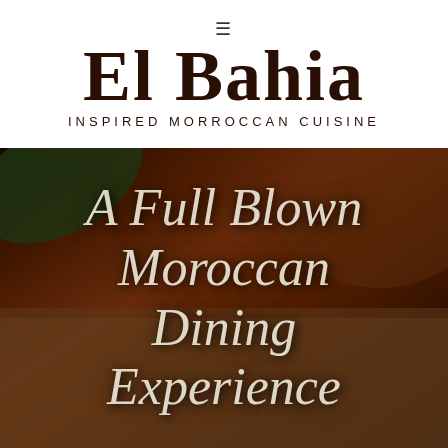El Bahia
INSPIRED MORROCCAN CUISINE
[Figure (photo): Close-up photo of Moroccan food (appears to be a grain or couscous dish) with a dark, warm-toned background, overlaid with large italic text reading 'A Full Blown Moroccan Dining Experience']
A Full Blown Moroccan Dining Experience